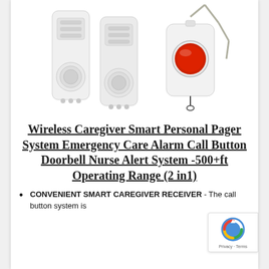[Figure (photo): Product photo showing two white wireless receiver/pager devices and one white emergency call button fob with a large red button and gray lanyard, on a white background.]
Wireless Caregiver Smart Personal Pager System Emergency Care Alarm Call Button Doorbell Nurse Alert System -500+ft Operating Range (2 in1)
CONVENIENT SMART CAREGIVER RECEIVER - The call button system is